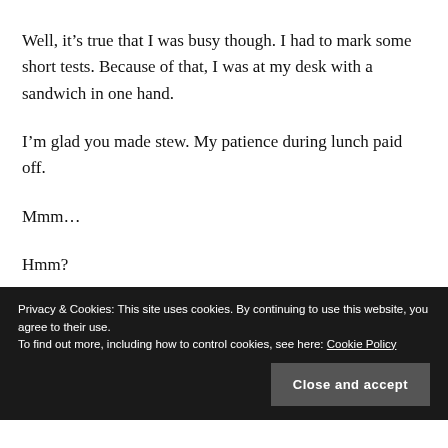Well, it’s true that I was busy though. I had to mark some short tests. Because of that, I was at my desk with a sandwich in one hand.
I’m glad you made stew. My patience during lunch paid off.
Mmm…
Hmm?
Privacy & Cookies: This site uses cookies. By continuing to use this website, you agree to their use. To find out more, including how to control cookies, see here: Cookie Policy
Close and accept